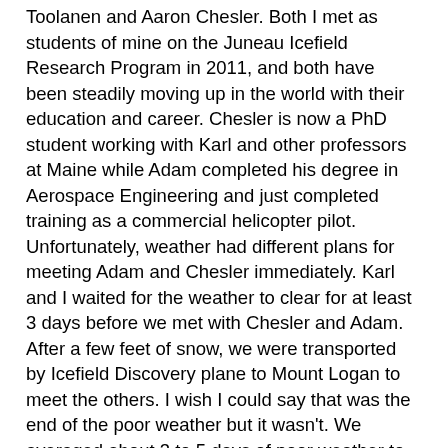Toolanen and Aaron Chesler.  Both I met as students of mine on the Juneau Icefield Research Program in 2011, and both have been steadily moving up in the world with their education and career.  Chesler is now a PhD student working with Karl and other professors at Maine while Adam completed his degree in Aerospace Engineering and just completed training as a commercial helicopter pilot.  Unfortunately, weather had different plans for meeting Adam and Chesler immediately.  Karl and I waited for the weather to clear for at least 3 days before we met with Chesler and Adam.  After a few feet of snow, we were transported by Icefield Discovery plane to Mount Logan to meet the others.  I wish I could say that was the end of the poor weather but it wasn't.  We averaged about 3 to 5 days of poor weather to every one good day which resulted in completing about ½ of the objectives on Mount Logan unfortunately.  We were ultimately able to reach King Col at 13500 feet above sea level where a Japanese team had extracted an ice core from in 2002.  At this site, we collected about 4.5 km of radar data